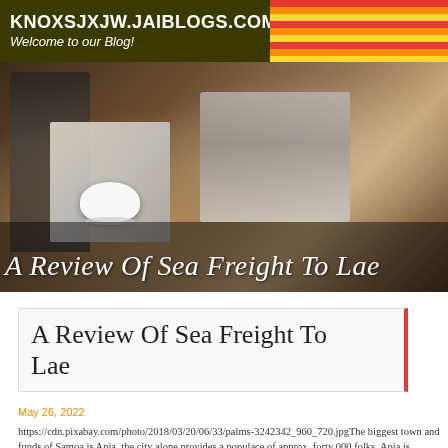KNOXSJXJW.JAIBLOGS.COM
Welcome to our Blog!
[Figure (photo): Hero banner image of a cafe/coffee shop scene with a person working at a laptop, a white coffee cup, and kitchen equipment in the background. Dark olive/brown tones.]
A Review Of Sea Freight To Lae
May 26, 2022
https://cdn.pixabay.com/photo/2018/03/20/06/33/palms-3242342_960_720.jpgThe biggest town and funds of Samoa is Apia, the city alone provides a populace of approx. forty 000 folks. Apia is